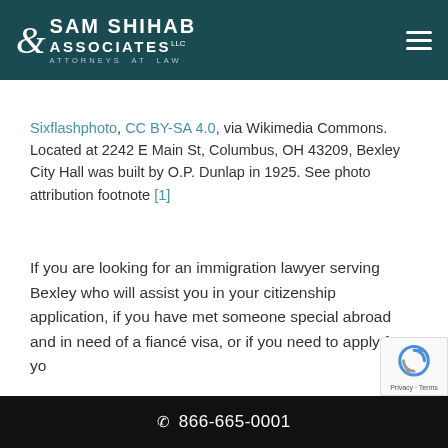Sam Shihab & Associates LLC — Attorneys at Law | hamburger menu icon
Sixflashphoto, CC BY-SA 4.0, via Wikimedia Commons. Located at 2242 E Main St, Columbus, OH 43209, Bexley City Hall was built by O.P. Dunlap in 1925. See photo attribution footnote [1]
If you are looking for an immigration lawyer serving Bexley who will assist you in your citizenship application, if you have met someone special abroad and in need of a fiancé visa, or if you need to apply for yo...
☎ 866-665-0001